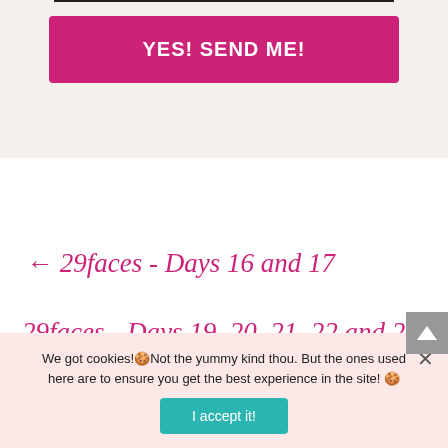[Figure (other): Top section with a horizontal divider line and a pink 'YES! SEND ME!' button on a beige background]
← 29faces - Days 16 and 17
29faces - Days 19, 20, 21, 22 and 23 →
We got cookies!🍪Not the yummy kind thou. But the ones used here are to ensure you get the best experience in the site! 🍪
I accept it!